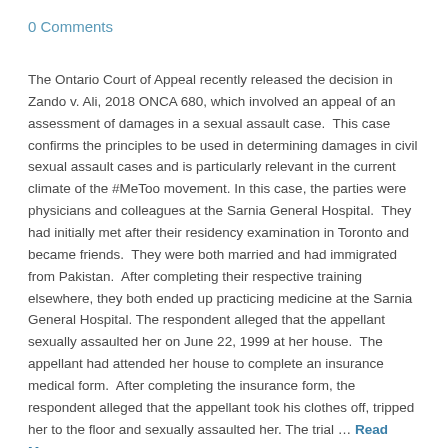0 Comments
The Ontario Court of Appeal recently released the decision in Zando v. Ali, 2018 ONCA 680, which involved an appeal of an assessment of damages in a sexual assault case.  This case confirms the principles to be used in determining damages in civil sexual assault cases and is particularly relevant in the current climate of the #MeToo movement. In this case, the parties were physicians and colleagues at the Sarnia General Hospital.  They had initially met after their residency examination in Toronto and became friends.  They were both married and had immigrated from Pakistan.  After completing their respective training elsewhere, they both ended up practicing medicine at the Sarnia General Hospital. The respondent alleged that the appellant sexually assaulted her on June 22, 1999 at her house.  The appellant had attended her house to complete an insurance medical form.  After completing the insurance form, the respondent alleged that the appellant took his clothes off, tripped her to the floor and sexually assaulted her. The trial … Read More